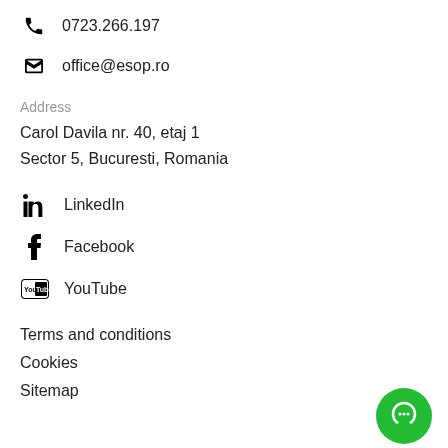0723.266.197
office@esop.ro
Address
Carol Davila nr. 40, etaj 1
Sector 5, Bucuresti, Romania
LinkedIn
Facebook
YouTube
Terms and conditions
Cookies
Sitemap
[Figure (illustration): Green circular chat button in bottom right corner]